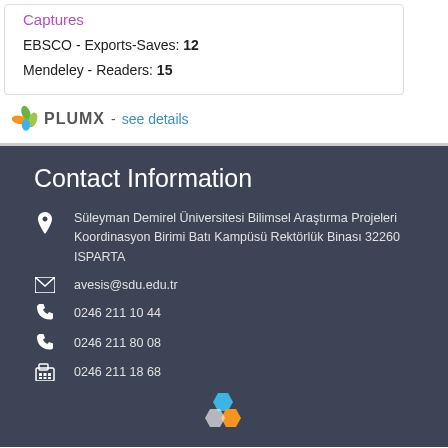Captures
EBSCO - Exports-Saves: 12
Mendeley - Readers: 15
[Figure (logo): PlumX logo with colorful leaves icon followed by PLUMX text and 'see details' link]
Contact Information
Süleyman Demirel Üniversitesi Bilimsel Araştırma Projeleri Koordinasyon Birimi Batı Kampüsü Rektörlük Binası 32260 ISPARTA
avesis@sdu.edu.tr
0246 211 10 44
0246 211 80 08
0246 211 18 68
[Figure (logo): Colorful hexagonal logo at bottom center]